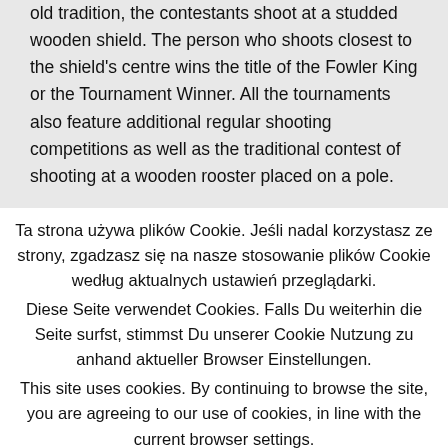old tradition, the contestants shoot at a studded wooden shield. The person who shoots closest to the shield's centre wins the title of the Fowler King or the Tournament Winner. All the tournaments also feature additional regular shooting competitions as well as the traditional contest of shooting at a wooden rooster placed on a pole.
Ta strona używa plików Cookie. Jeśli nadal korzystasz ze strony, zgadzasz się na nasze stosowanie plików Cookie według aktualnych ustawień przeglądarki.
Diese Seite verwendet Cookies. Falls Du weiterhin die Seite surfst, stimmst Du unserer Cookie Nutzung zu anhand aktueller Browser Einstellungen.
This site uses cookies. By continuing to browse the site, you are agreeing to our use of cookies, in line with the current browser settings.